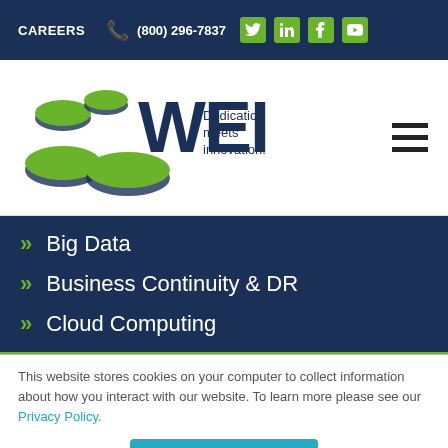CAREERS  (800) 296-7837
[Figure (logo): WEI logo with green coin/disc shapes and tagline 'Dedication meets innovation.']
Big Data
Business Continuity & DR
Cloud Computing
This website stores cookies on your computer to collect information about how you interact with our website. To learn more please see our Privacy Policy.
Okay, got it.